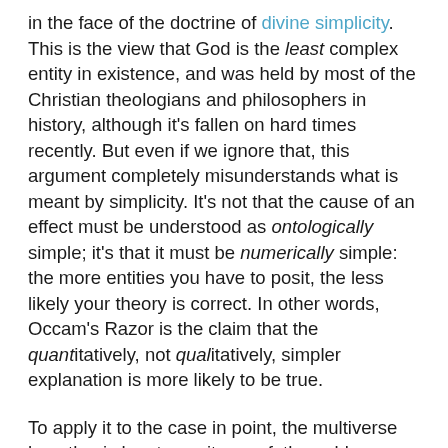in the face of the doctrine of divine simplicity. This is the view that God is the least complex entity in existence, and was held by most of the Christian theologians and philosophers in history, although it's fallen on hard times recently. But even if we ignore that, this argument completely misunderstands what is meant by simplicity. It's not that the cause of an effect must be understood as ontologically simple; it's that it must be numerically simple: the more entities you have to posit, the less likely your theory is correct. In other words, Occam's Razor is the claim that the quantitatively, not qualitatively, simpler explanation is more likely to be true.
To apply it to the case in point, the multiverse hypothesis has to posit an unfathomable or infinite number of universes in order to account for one universe having the necessary conditions for life. By contrast, Monotheism posits the existence of one causal agent who brought the universe into existence with the necessary conditions. Obviously, the latter is the simpler explanation, and so according to Occam's Razor, we should prefer it to the multiverse hypothesis.
The second problem with the multiverse is as follows: if you